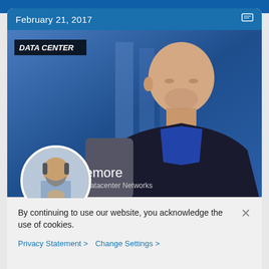February 21, 2017
[Figure (photo): Video thumbnail showing a bald man in a black jacket and blue shirt being interviewed on a TV set with blue background. A lower-third graphic showing 'emore / Datacenter Networks' is visible. A label 'DATA CENTER' appears in upper left. A circular profile photo of another man (Kurt Milne) overlaps the lower left.]
Kurt Milne
Managing Applications Across Hybrid Clouds
By continuing to use our website, you acknowledge the use of cookies.
Privacy Statement > Change Settings >